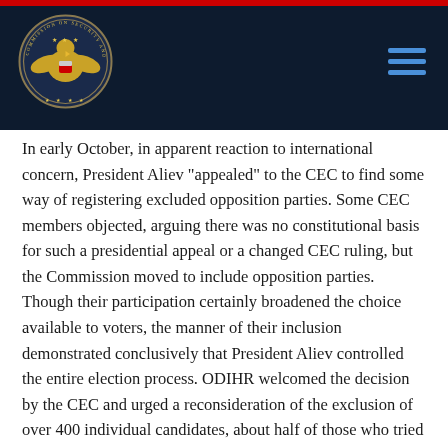Commission on Security and Cooperation in Europe header with logo and navigation
In early October, in apparent reaction to international concern, President Aliev “appealed” to the CEC to find some way of registering excluded opposition parties. Some CEC members objected, arguing there was no constitutional basis for such a presidential appeal or a changed CEC ruling, but the Commission moved to include opposition parties. Though their participation certainly broadened the choice available to voters, the manner of their inclusion demonstrated conclusively that President Aliev controlled the entire election process. ODIHR welcomed the decision by the CEC and urged a reconsideration of the exclusion of over 400 individual candidates, about half of those who tried to run in single-mandate districts. But the CEC did not do so, and only in very few cases were previously excluded candidates allowed to run. As 100